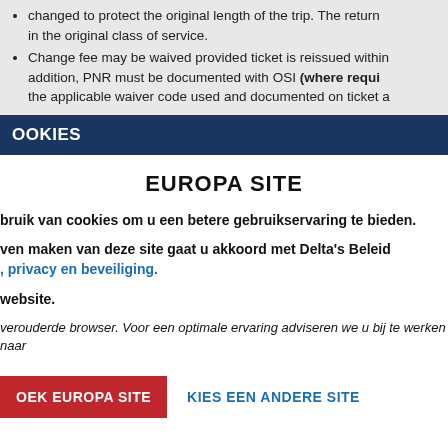changed to protect the original length of the trip. The return in the original class of service.
Change fee may be waived provided ticket is reissued within addition, PNR must be documented with OSI (where required) the applicable waiver code used and documented on ticket a
OOKIES
EUROPA SITE
bruik van cookies om u een betere gebruikservaring te bieden.
ven maken van deze site gaat u akkoord met Delta's Beleid , privacy en beveiliging.
website.
verouderde browser. Voor een optimale ervaring adviseren we u bij te werken naar
OEK EUROPA SITE
KIES EEN ANDERE SITE